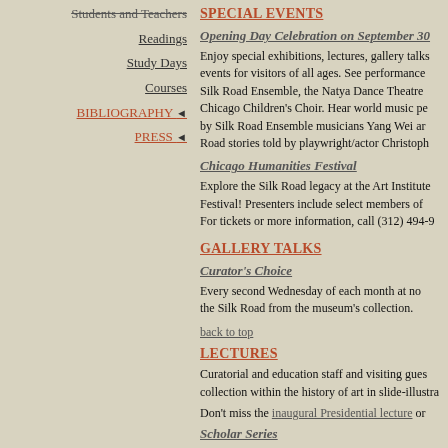Students and Teachers
Readings
Study Days
Courses
BIBLIOGRAPHY ◄
PRESS ◄
SPECIAL EVENTS
Opening Day Celebration on September 30
Enjoy special exhibitions, lectures, gallery talks events for visitors of all ages. See performance Silk Road Ensemble, the Natya Dance Theatre Chicago Children's Choir. Hear world music pe by Silk Road Ensemble musicians Yang Wei ar Road stories told by playwright/actor Christoph
Chicago Humanities Festival
Explore the Silk Road legacy at the Art Institute Festival! Presenters include select members of For tickets or more information, call (312) 494-9
GALLERY TALKS
Curator's Choice
Every second Wednesday of each month at no the Silk Road from the museum's collection.
back to top
LECTURES
Curatorial and education staff and visiting gues collection within the history of art in slide-illustra
Don't miss the inaugural Presidential lecture or
Scholar Series
One Thursday every month at 6:00